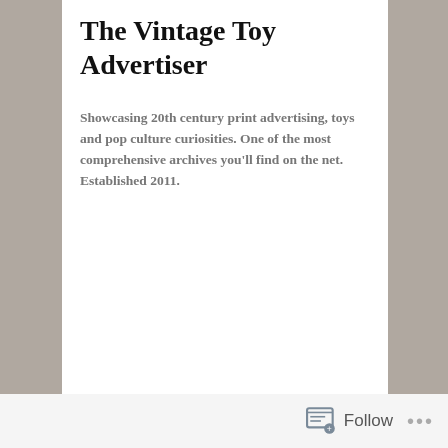The Vintage Toy Advertiser
Showcasing 20th century print advertising, toys and pop culture curiosities. One of the most comprehensive archives you'll find on the net. Established 2011.
Home
ABOUT
Star Wars
Lego
Playmobil
Barbie
Die Cast
He-Man
Comics
Video Games
View-Master
Chirashi Movie Posters
Never Mind The Adverts
Vinyl Records
Follow ...